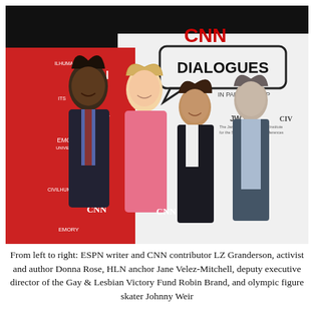[Figure (photo): Group photo of four people standing in front of a CNN Dialogues banner with Emory University, JWJI, and Civil Human Rights logos. From left to right: LZ Granderson, Donna Rose, Jane Velez-Mitchell, and Robin Brand.]
From left to right: ESPN writer and CNN contributor LZ Granderson, activist and author Donna Rose, HLN anchor Jane Velez-Mitchell, deputy executive director of the Gay & Lesbian Victory Fund Robin Brand, and olympic figure skater Johnny Weir